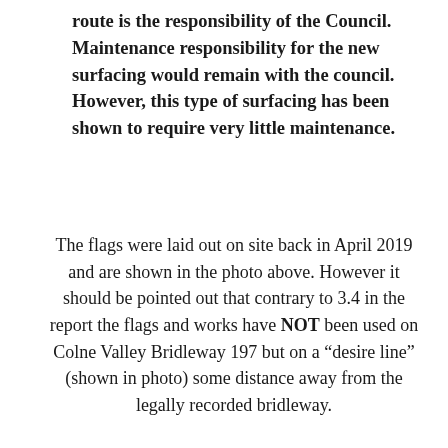route is the responsibility of the Council. Maintenance responsibility for the new surfacing would remain with the council. However, this type of surfacing has been shown to require very little maintenance.
The flags were laid out on site back in April 2019 and are shown in the photo above. However it should be pointed out that contrary to 3.4 in the report the flags and works have NOT been used on Colne Valley Bridleway 197 but on a “desire line” (shown in photo) some distance away from the legally recorded bridleway.